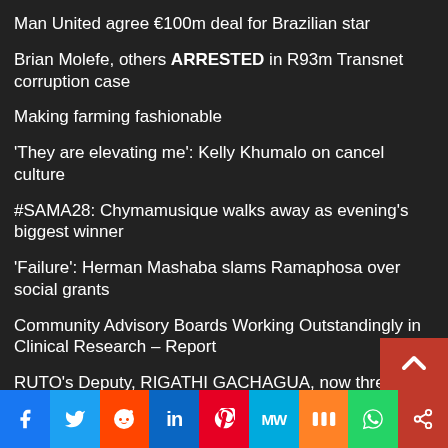Man United agree €100m deal for Brazilian star
Brian Molefe, others ARRESTED in R93m Transnet corruption case
Making farming fashionable
'They are elevating me': Kelly Khumalo on cancel culture
#SAMA28: Chymamusique walks away as evening's biggest winner
'Failure': Herman Mashaba slams Ramaphosa over social grants
Community Advisory Boards Working Outstandingly in Clinical Research – Report
RUTO's Deputy, RIGATHI GACHAGUA, now threatens KIBICHO as he puts him on notice – Look! WETANGULA in the mix!